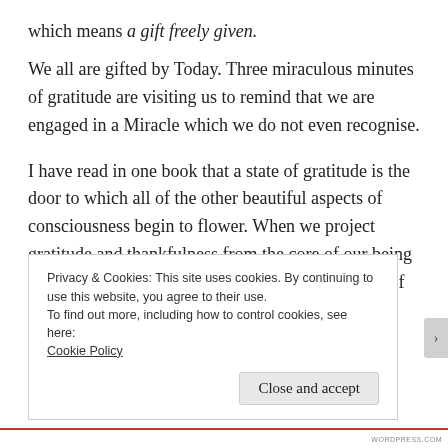which means a gift freely given.
We all are gifted by Today. Three miraculous minutes of gratitude are visiting us to remind that we are engaged in a Miracle which we do not even recognise.
I have read in one book that a state of gratitude is the door to which all of the other beautiful aspects of consciousness begin to flower. When we project gratitude and thankfulness from the core of our being we are powerfully affirming and raising the value of our life and every life we contact with
Privacy & Cookies: This site uses cookies. By continuing to use this website, you agree to their use.
To find out more, including how to control cookies, see here:
Cookie Policy
Close and accept